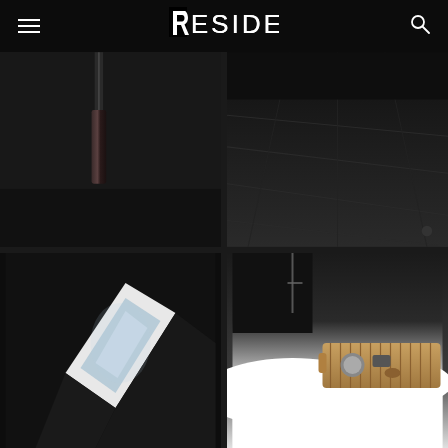RESIDE
[Figure (photo): Dark interior photo showing a pendant lamp partially visible at top, vertical cylindrical form with dark metallic finish against very dark background]
[Figure (photo): Dark bathroom floor with large format dark tiles, perspective view showing a bathroom space with dark tile flooring and minimal lighting]
[Figure (photo): Architectural skylight or light well detail, showing geometric white form with blue-tinted light reflecting off angular surfaces in a dark room]
[Figure (photo): White freestanding bathtub viewed from above with a bamboo bath caddy/tray holding candle, soap and accessories, dark room with faucet visible]